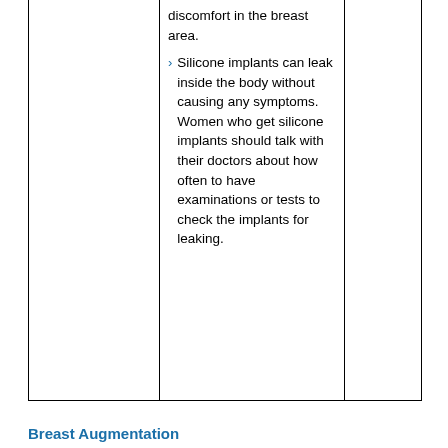|  | discomfort in the breast area.
› Silicone implants can leak inside the body without causing any symptoms. Women who get silicone implants should talk with their doctors about how often to have examinations or tests to check the implants for leaking. |  |
Breast Augmentation